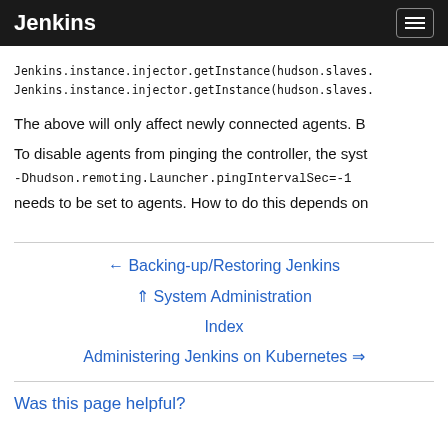Jenkins
Jenkins.instance.injector.getInstance(hudson.slaves.
Jenkins.instance.injector.getInstance(hudson.slaves.
The above will only affect newly connected agents. B
To disable agents from pinging the controller, the syst
-Dhudson.remoting.Launcher.pingIntervalSec=-1
needs to be set to agents. How to do this depends on
← Backing-up/Restoring Jenkins
⇑ System Administration Index
Administering Jenkins on Kubernetes ⇒
Was this page helpful?